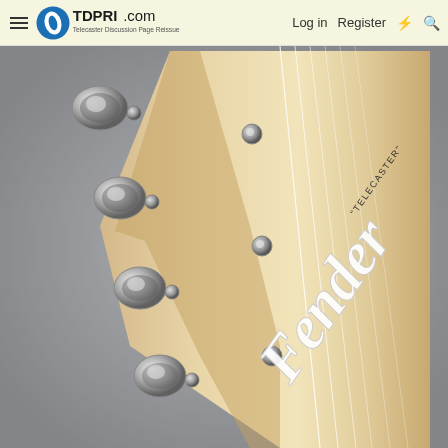TDPRI.com — Telecaster Discussion Page Reissue | Log in | Register
[Figure (photo): Close-up photograph of a Fender Telecaster guitar headstock with maple neck, showing six chrome tuning pegs and the Fender and 'Telecaster' logos on the headstock face, against a grey background.]